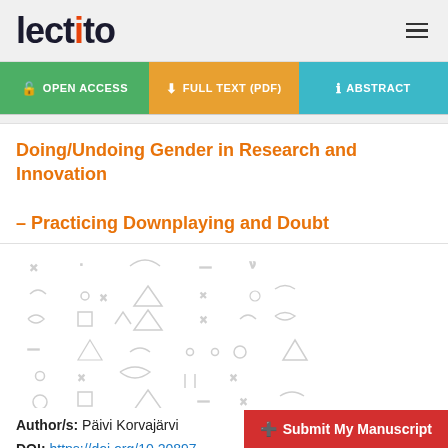[Figure (logo): Lectito logo with orange 'i' dot]
OPEN ACCESS | FULL TEXT (PDF) | ABSTRACT
Doing/Undoing Gender in Research and Innovation – Practicing Downplaying and Doubt
[Figure (illustration): Decorative pattern with geometric shapes: triangles, squares, circles, crosses, wavy lines in light grey]
Author/s: Päivi Korvajärvi
DOI: https://doi.org/10.20897...